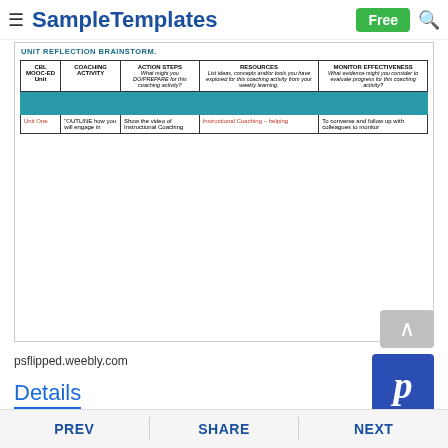SampleTemplates — Free
[Figure (screenshot): Screenshot of a Unit Reflection Brainstorm template table with columns: CBL MOOC-ED Unit, Coaching Activity, Action Steps, Resources, Monitor Effectiveness. A teal colored row is visible. Unit One row shows partial content about Instructional Coaching.]
psflipped.weebly.com
Details
File Format
PREV  SHARE  NEXT